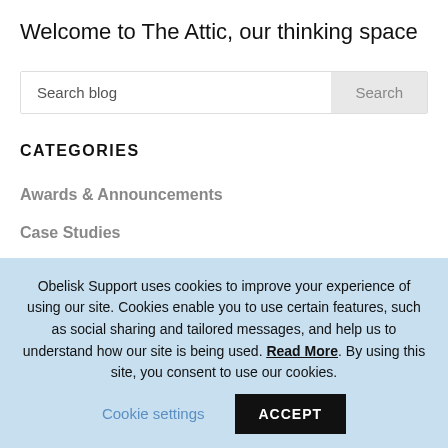Welcome to The Attic, our thinking space
Search blog
CATEGORIES
Awards & Announcements
Case Studies
D&I
Flexible Working
Freelance Life
Obelisk Support uses cookies to improve your experience of using our site. Cookies enable you to use certain features, such as social sharing and tailored messages, and help us to understand how our site is being used. Read More. By using this site, you consent to use our cookies.
Cookie settings
ACCEPT